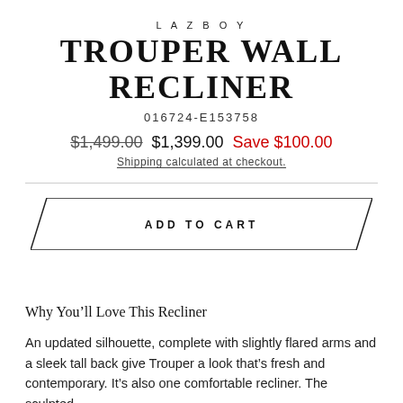LAZBOY
TROUPER WALL RECLINER
016724-E153758
$1,499.00  $1,399.00  Save $100.00
Shipping calculated at checkout.
ADD TO CART
Why You’ll Love This Recliner
An updated silhouette, complete with slightly flared arms and a sleek tall back give Trouper a look that’s fresh and contemporary. It’s also one comfortable recliner. The sculpted